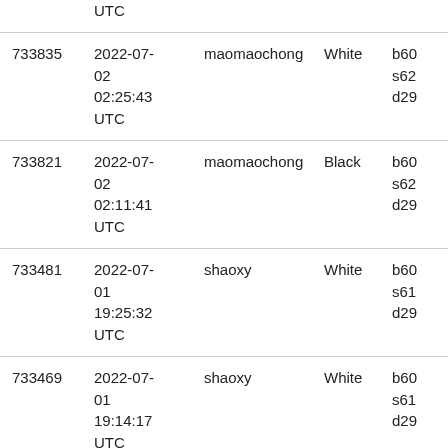| ID | Date | User | Color | Hash |
| --- | --- | --- | --- | --- |
|  | UTC |  |  |  |
| 733835 | 2022-07-02 02:25:43 UTC | maomaochong | White | b60 s62 d29 |
| 733821 | 2022-07-02 02:11:41 UTC | maomaochong | Black | b60 s62 d29 |
| 733481 | 2022-07-01 19:25:32 UTC | shaoxy | White | b60 s61 d29 |
| 733469 | 2022-07-01 19:14:17 UTC | shaoxy | White | b60 s61 d29 |